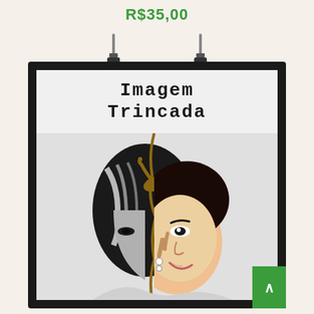R$35,00
[Figure (illustration): Book cover for 'Imagem Trincada' showing a split portrait of a woman — left half in black and white sketch style, right half in realistic color. The face appears cracked/splitting apart. Displayed in a black clip frame hanging against a light background.]